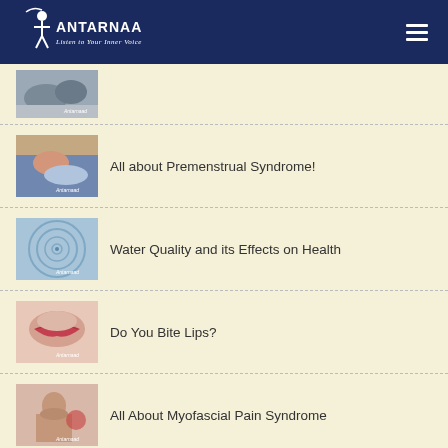[Figure (logo): Antarnaad logo with tagline 'Listen to Your Inner Voice' on dark navy header]
[Figure (photo): Thumbnail image for first article (partially visible at top)]
All about Premenstrual Syndrome!
[Figure (photo): Thumbnail image showing person curled up, related to Premenstrual Syndrome article]
Water Quality and its Effects on Health
[Figure (photo): Thumbnail image showing water ripples, related to Water Quality article]
Do You Bite Lips?
[Figure (photo): Thumbnail image showing close-up of lips, related to Do You Bite Lips article]
All About Myofascial Pain Syndrome
[Figure (photo): Thumbnail image showing person with neck pain, related to Myofascial Pain Syndrome article]